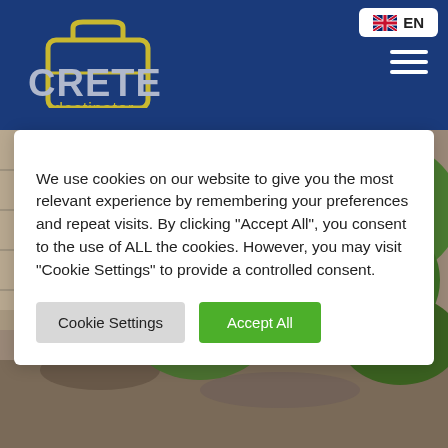CRETE destinator — EN language selector and hamburger menu navigation
[Figure (logo): CRETE destinator logo with suitcase icon in gold/yellow outline on dark blue background]
We use cookies on our website to give you the most relevant experience by remembering your preferences and repeat visits. By clicking “Accept All”, you consent to the use of ALL the cookies. However, you may visit “Cookie Settings” to provide a controlled consent.
Cookie Settings | Accept All
[Figure (photo): Outdoor photo of a stone wall or fortress with green shrubs and rocky terrain in the background, taken in Crete]